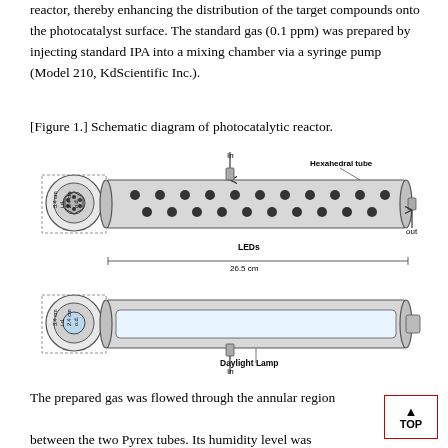reactor, thereby enhancing the distribution of the target compounds onto the photocatalyst surface. The standard gas (0.1 ppm) was prepared by injecting standard IPA into a mixing chamber via a syringe pump (Model 210, KdScientific Inc.).
[Figure 1.] Schematic diagram of photocatalytic reactor.
[Figure (schematic): Schematic diagram of a photocatalytic reactor showing two cylindrical tubes. The upper tube (hexahedral tube) contains LEDs arranged in rows, with an 'In' inlet at top and 'out' outlet on the right, length 26.5 cm, cross-section showing 3.4 cm i.d. and 2.4 cm o.d. The lower tube contains a Daylight Lamp with an 'In' inlet at bottom, same cross-section dimensions.]
The prepared gas was flowed through the annular region
between the two Pyrex tubes. Its humidity level was